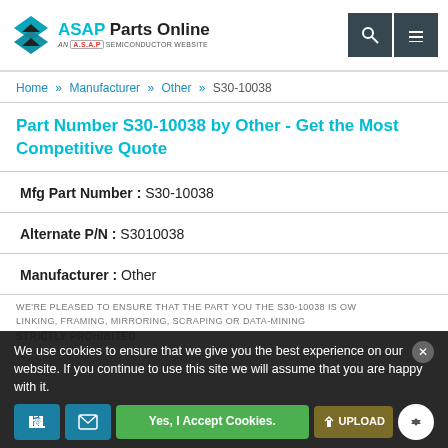[Figure (logo): ASAP Parts Online logo with diamond/chevron icon and 'AN A.S.A.P SEMICONDUCTOR WEBSITE' tagline]
ASAP Parts Online - AN A.S.A.P SEMICONDUCTOR WEBSITE
Home » Manufacturer » Other » S30-10038
Part Number S30-10038 by Other - Get the Most Competitive Quote
Mfg Part Number : S30-10038
Alternate P/N : S3010038
Manufacturer : Other
We use cookies to ensure that we give you the best experience on our website. If you continue to use this site we will assume that you are happy with it.
Yes, I Accept Cookies.